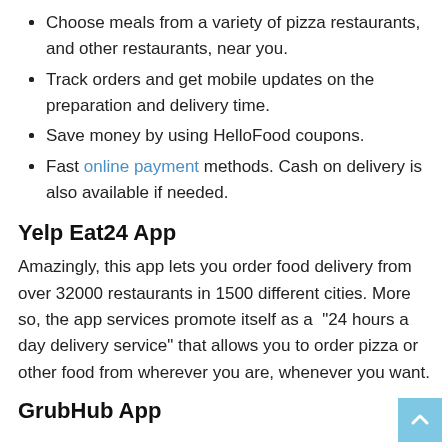Choose meals from a variety of pizza restaurants, and other restaurants, near you.
Track orders and get mobile updates on the preparation and delivery time.
Save money by using HelloFood coupons.
Fast online payment methods. Cash on delivery is also available if needed.
Yelp Eat24 App
Amazingly, this app lets you order food delivery from over 32000 restaurants in 1500 different cities. More so, the app services promote itself as a “24 hours a day delivery service” that allows you to order pizza or other food from wherever you are, whenever you want.
GrubHub App